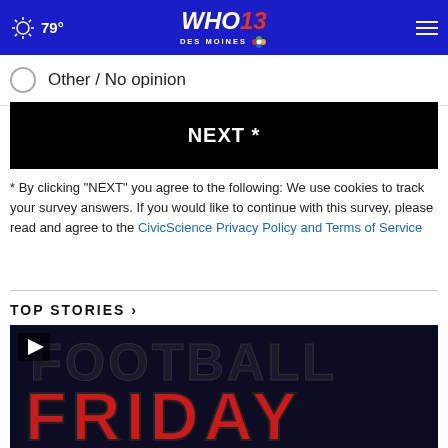79° WHO 13 DES MOINES NBC
Other / No opinion
NEXT *
* By clicking "NEXT" you agree to the following: We use cookies to track your survey answers. If you would like to continue with this survey, please read and agree to the CivicScience Privacy Policy and Terms of Service
TOP STORIES ›
[Figure (screenshot): Video thumbnail showing text 'FOOTBALL FRIDAY' with red and black lettering, with a play button icon in the upper left]